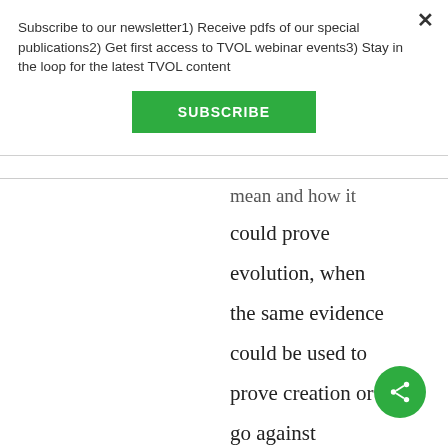Subscribe to our newsletter1) Receive pdfs of our special publications2) Get first access to TVOL webinar events3) Stay in the loop for the latest TVOL content
[Figure (other): Green SUBSCRIBE button]
mean and how it could prove evolution, when the same evidence could be used to prove creation or go against evolution. As for the isolation...
[Figure (other): Green circular share button with share icon]